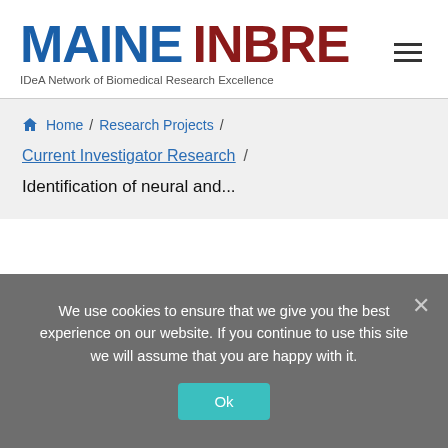MAINE INBRE – IDeA Network of Biomedical Research Excellence
Home / Research Projects / Current Investigator Research / Identification of neural and...
We use cookies to ensure that we give you the best experience on our website. If you continue to use this site we will assume that you are happy with it.